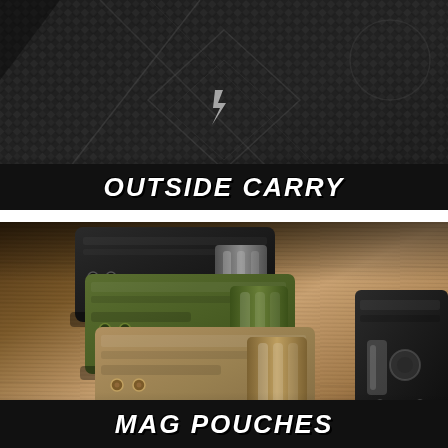[Figure (photo): Close-up photo of carbon fiber patterned tactical holster/carrier material in black with diamond weave texture on a wood surface]
OUTSIDE CARRY
[Figure (photo): Photo of three tactical magazine pouches in black, olive/green, and tan/coyote colors stacked on a wooden surface, with a partial black holster visible on the right edge]
MAG POUCHES